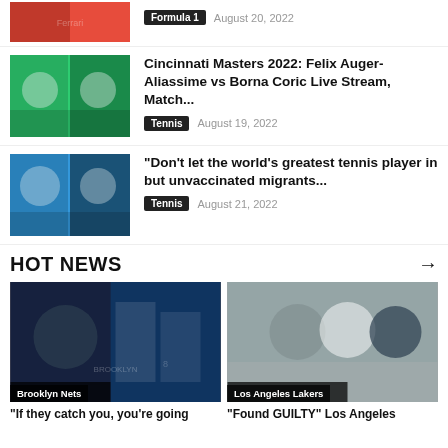[Figure (photo): Partial top article image showing Formula 1 Ferrari driver]
Formula 1   August 20, 2022
[Figure (photo): Tennis players including Felix Auger-Aliassime and Borna Coric]
Cincinnati Masters 2022: Felix Auger-Aliassime vs Borna Coric Live Stream, Match...
Tennis   August 19, 2022
[Figure (photo): Tennis and political figures including Novak Djokovic and Rand Paul]
“Don’t let the world’s greatest tennis player in but unvaccinated migrants...
Tennis   August 21, 2022
HOT NEWS
[Figure (photo): Brooklyn Nets basketball players and coach on court]
“If they catch you, you’re going
[Figure (photo): Los Angeles Lakers women walking outdoors]
“Found GUILTY” Los Angeles